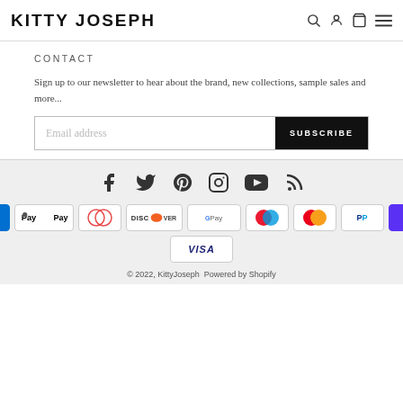KITTY JOSEPH
CONTACT
Sign up to our newsletter to hear about the brand, new collections, sample sales and more...
Email address  SUBSCRIBE
[Figure (infographic): Social media icons: Facebook, Twitter, Pinterest, Instagram, YouTube, RSS]
[Figure (infographic): Payment method badges: American Express, Apple Pay, Diners Club, Discover, Google Pay, Maestro, Mastercard, PayPal, Shop Pay, Visa]
© 2022, KittyJoseph Powered by Shopify